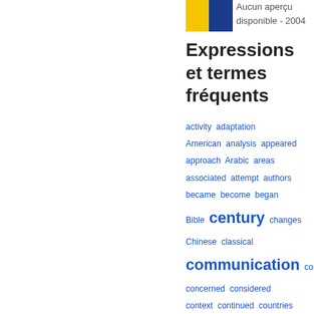[Figure (other): Book thumbnail with yellow and blue cover halves]
Aucun aperçu disponible - 2004
Expressions et termes fréquents
activity  adaptation  American  analysis  appeared  approach  Arabic  areas  associated  attempt  authors  became  become  began  Bible  century  changes  Chinese  classical  communication  concept  concerned  considered  context  continued  countries  course  criticism  cultural  early  effect  English  equivalence